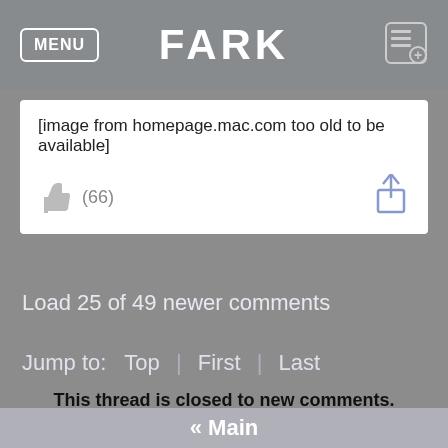MENU   FARK
[image from homepage.mac.com too old to be available]
(66)
Load 25 of 49 newer comments
Jump to:  Top  |  First  |  Last
This thread is closed to new comments.
« Main